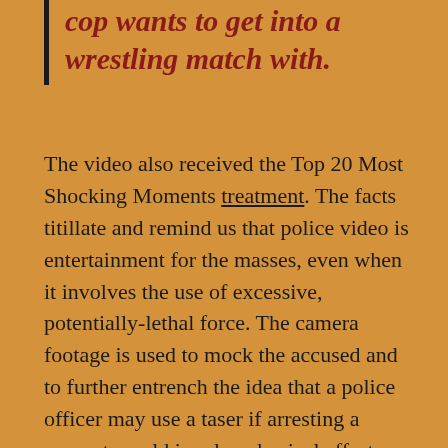cop wants to get into a wrestling match with.
The video also received the Top 20 Most Shocking Moments treatment. The facts titillate and remind us that police video is entertainment for the masses, even when it involves the use of excessive, potentially-lethal force. The camera footage is used to mock the accused and to further entrench the idea that a police officer may use a taser if arresting a suspect would involve physical effort or put him in an uncomfortable situation. Even with video, we don't reject the use of the taser here. It repeats the now-accepted belief that the taser is a substitute for police work rather than a substitute for the officer's finger...